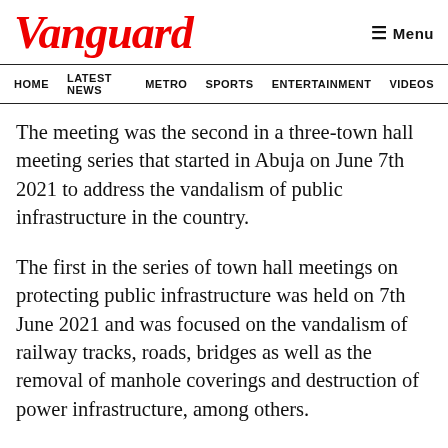Vanguard
HOME  LATEST NEWS  METRO  SPORTS  ENTERTAINMENT  VIDEOS
The meeting was the second in a three-town hall meeting series that started in Abuja on June 7th 2021 to address the vandalism of public infrastructure in the country.
The first in the series of town hall meetings on protecting public infrastructure was held on 7th June 2021 and was focused on the vandalism of railway tracks, roads, bridges as well as the removal of manhole coverings and destruction of power infrastructure, among others.